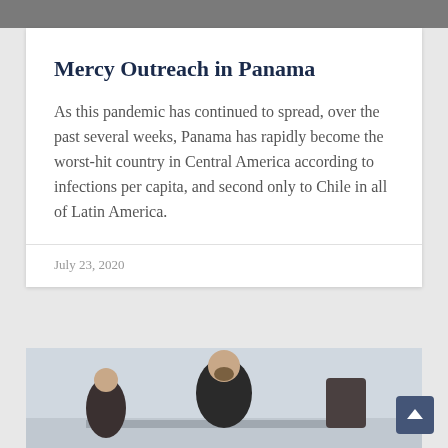[Figure (photo): Top image strip showing a partial photograph at the top of the page]
Mercy Outreach in Panama
As this pandemic has continued to spread, over the past several weeks, Panama has rapidly become the worst-hit country in Central America according to infections per capita, and second only to Chile in all of Latin America.
July 23, 2020
[Figure (photo): Photograph of a man in a black clerical shirt seated at a table, smiling, in a room with a light-colored wall. Other people partially visible.]